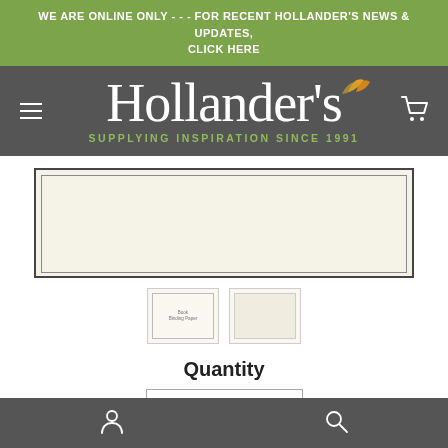WE ARE ONLINE ONLY - - - FOR RECENT HOLLANDER'S NEWS & UPDATES, CLICK HERE
[Figure (logo): Hollander's logo with leaf decoration and tagline 'SUPPLYING INSPIRATION SINCE 1991' on dark gray background]
[Figure (photo): Product image showing cream/ivory paper with dark border, with two thumbnail views below]
Quantity
1
$8.99
Bottom navigation bar with person icon and search icon